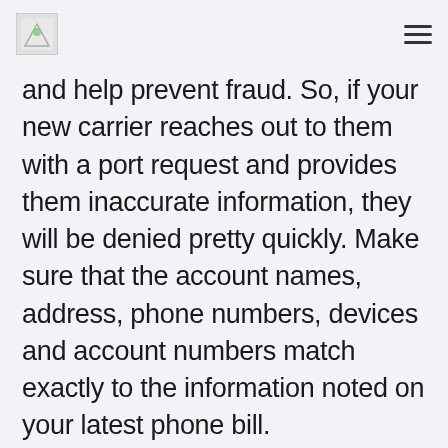[logo] [menu]
and help prevent fraud. So, if your new carrier reaches out to them with a port request and provides them inaccurate information, they will be denied pretty quickly. Make sure that the account names, address, phone numbers, devices and account numbers match exactly to the information noted on your latest phone bill.
Your new carrier will begin your porting process for you when you provide your current phone number and account information.